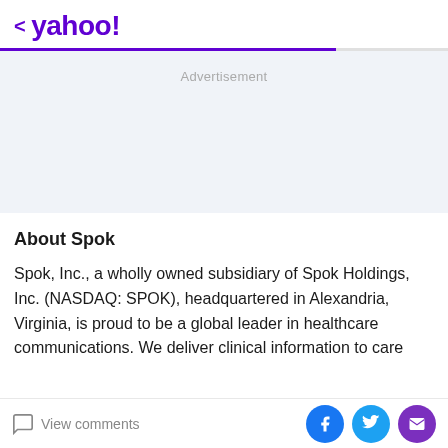< yahoo!
[Figure (other): Advertisement placeholder area with light blue-gray background]
About Spok
Spok, Inc., a wholly owned subsidiary of Spok Holdings, Inc. (NASDAQ: SPOK), headquartered in Alexandria, Virginia, is proud to be a global leader in healthcare communications. We deliver clinical information to care
View comments | Facebook share | Twitter share | Email share